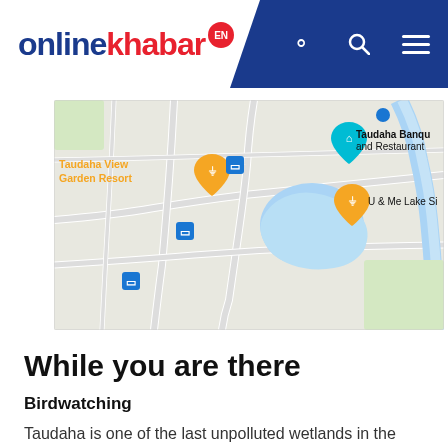onlinekhabar EN
[Figure (map): Google Maps screenshot showing Taudaha lake area with markers for Taudaha View Garden Resort, Taudaha Banquet and Restaurant, U & Me Lake Side restaurant, and several bus stop icons. The lake appears as a blue body of water in the center-right of the map.]
While you are there
Birdwatching
Taudaha is one of the last unpolluted wetlands in the